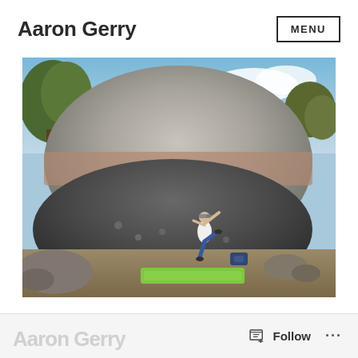Aaron Gerry  MENU
[Figure (photo): A person bouldering on a large rounded granite boulder outdoors. The climber is wearing a white tank top, jeans, and a cap, with one leg raised high on the dark lower face of the boulder. A green crash pad is on the ground below. Trees and a partly cloudy blue sky are visible in the background.]
Aaron Gerry  Follow ...